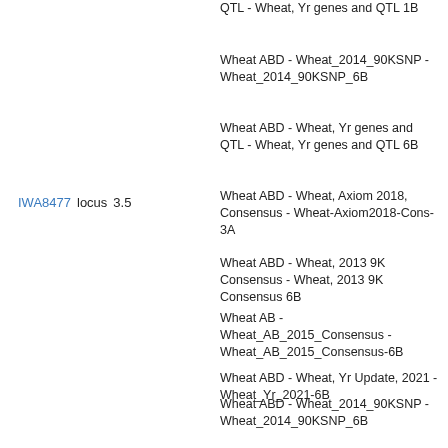QTL - Wheat, Yr genes and QTL 1B
Wheat ABD - Wheat_2014_90KSNP - Wheat_2014_90KSNP_6B
Wheat ABD - Wheat, Yr genes and QTL - Wheat, Yr genes and QTL 6B
Wheat ABD - Wheat, Axiom 2018, Consensus - Wheat-Axiom2018-Cons-3A
IWA8477   locus   3.5
Wheat ABD - Wheat, 2013 9K Consensus - Wheat, 2013 9K Consensus 6B
Wheat AB - Wheat_AB_2015_Consensus - Wheat_AB_2015_Consensus-6B
Wheat ABD - Wheat, Yr Update, 2021 - Wheat_Yr_2021-6B
Wheat ABD - Wheat_2014_90KSNP - Wheat_2014_90KSNP_6B
Wheat AB - Wheat_AB, Colosseo x Lloyd - Wheat_AB, Colosseo x Lloyd 6B